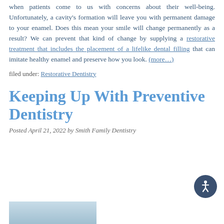when patients come to us with concerns about their well-being. Unfortunately, a cavity's formation will leave you with permanent damage to your enamel. Does this mean your smile will change permanently as a result? We can prevent that kind of change by supplying a restorative treatment that includes the placement of a lifelike dental filling that can imitate healthy enamel and preserve how you look. (more...)
filed under: Restorative Dentistry
Keeping Up With Preventive Dentistry
Posted April 21, 2022 by Smith Family Dentistry
[Figure (photo): Partial dental/medical photo, cropped at bottom of page]